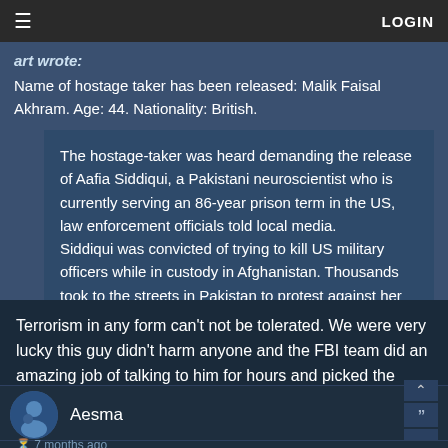≡   LOGIN
art wrote:
Name of hostage taker has been released: Malik Faisal Akhram. Age: 44. Nationality: British.
The hostage-taker was heard demanding the release of Aafia Siddiqui, a Pakistani neuroscientist who is currently serving an 86-year prison term in the US, law enforcement officials told local media.
Siddiqui was convicted of trying to kill US military officers while in custody in Afghanistan. Thousands took to the streets in Pakistan to protest against her conviction in
Terrorism in any form can't not be tolerated. We were very lucky this guy didn't harm anyone and the FBI team did an amazing job of talking to him for hours and picked the perfect moment to deploy the flash bang and get the hostages out and neutralize the threat.
Aesma
7 months ago